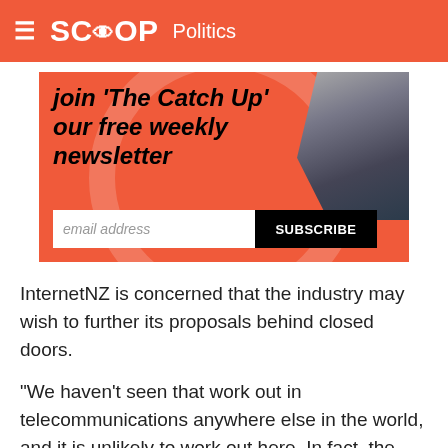SCOOP Politics
[Figure (infographic): Newsletter signup banner with red/salmon background, large italic bold text reading "join 'The Catch Up' our free weekly newsletter", a bird photo on the right, an email address input field and a black SUBSCRIBE button.]
InternetNZ is concerned that the industry may wish to further its proposals behind closed doors.
"We haven't seen that work out in telecommunications anywhere else in the world, and it is unlikely to work out here. In fact, the metaphor that springs to mind is 'foxes designing hen houses.' The industry proved with